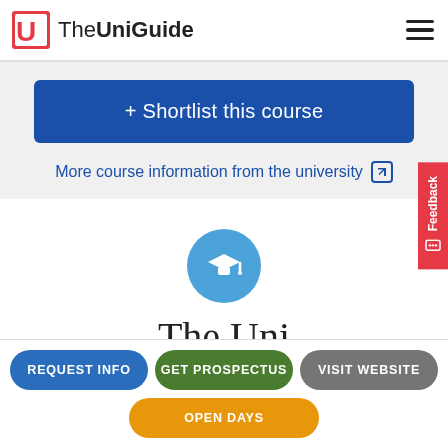The UniGuide
+ Shortlist this course
More course information from the university
[Figure (logo): Graduation cap icon in a blue circle]
The Uni
REQUEST INFO
GET PROSPECTUS
VISIT WEBSITE
OPEN DAYS